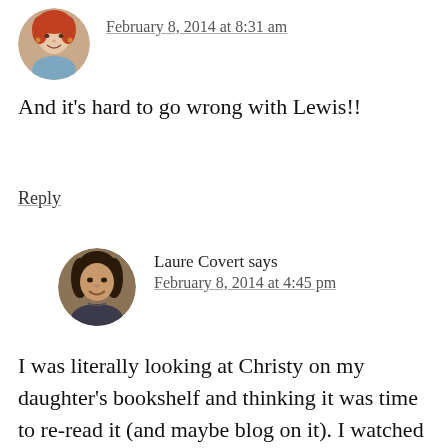[Figure (photo): Circular avatar photo of a woman with red/blonde hair, partial view at top of page]
February 8, 2014 at 8:31 am
And it's hard to go wrong with Lewis!!
Reply
[Figure (photo): Circular avatar photo of a dark-haired woman smiling]
Laure Covert says
February 8, 2014 at 4:45 pm
I was literally looking at Christy on my daughter's bookshelf and thinking it was time to re-read it (and maybe blog on it). I watched “Call the Midwife” – how is the book? My older teen girl loved The Four Loves, but Till We Have Faces is her other. I like this reading